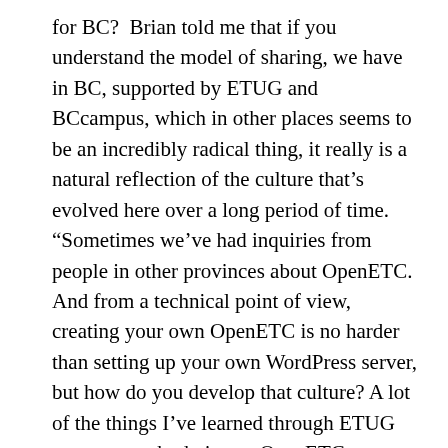for BC?  Brian told me that if you understand the model of sharing, we have in BC, supported by ETUG and BCcampus, which in other places seems to be an incredibly radical thing, it really is a natural reflection of the culture that’s evolved here over a long period of time. “Sometimes we’ve had inquiries from people in other provinces about OpenETC. And from a technical point of view, creating your own OpenETC is no harder than setting up your own WordPress server, but how do you develop that culture? A lot of the things I’ve learned through ETUG we try to embody in our OpenETC practice. We don’t talk about it very often because I think it’s just understood; it’s just a shared set of values.”